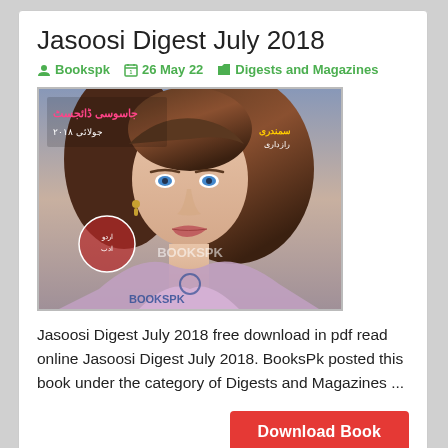Jasoosi Digest July 2018
Bookspk  26 May 22  Digests and Magazines
[Figure (photo): Cover of Jasoosi Digest July 2018 magazine showing a woman with brown hair and blue eyes, with Urdu text and BooksPK watermark]
Jasoosi Digest July 2018 free download in pdf read online Jasoosi Digest July 2018. BooksPk posted this book under the category of Digests and Magazines ...
Download Book